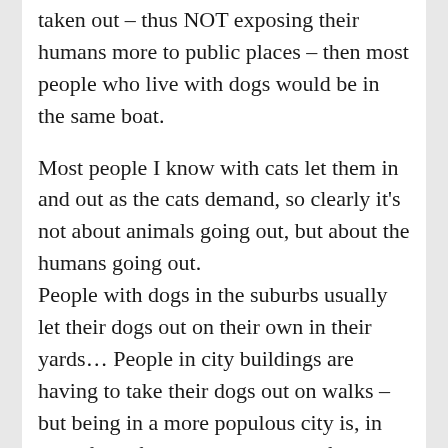taken out – thus NOT exposing their humans more to public places – then most people who live with dogs would be in the same boat.
Most people I know with cats let them in and out as the cats demand, so clearly it's not about animals going out, but about the humans going out.
People with dogs in the suburbs usually let their dogs out on their own in their yards… People in city buildings are having to take their dogs out on walks – but being in a more populous city is, in and of itself, more likely to be a factor in COVID-19 spread.
People who go out more often are more